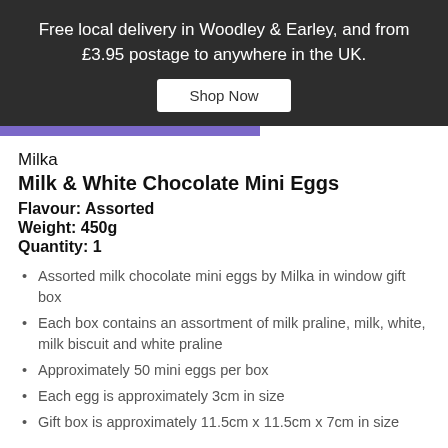Free local delivery in Woodley & Earley, and from £3.95 postage to anywhere in the UK.
Shop Now
Milka
Milk & White Chocolate Mini Eggs
Flavour: Assorted
Weight: 450g
Quantity: 1
Assorted milk chocolate mini eggs by Milka in window gift box
Each box contains an assortment of milk praline, milk, white, milk biscuit and white praline
Approximately 50 mini eggs per box
Each egg is approximately 3cm in size
Gift box is approximately 11.5cm x 11.5cm x 7cm in size